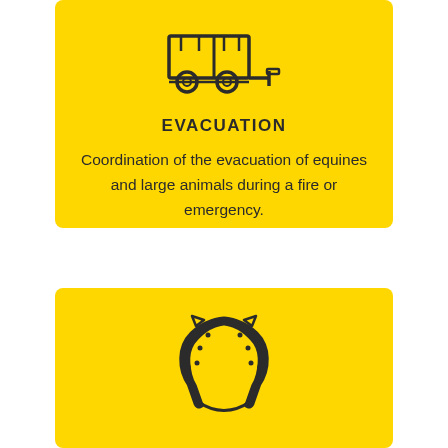[Figure (illustration): Icon of a horse trailer / livestock trailer on wheels]
EVACUATION
Coordination of the evacuation of equines and large animals during a fire or emergency.
[Figure (illustration): Icon of a horseshoe]